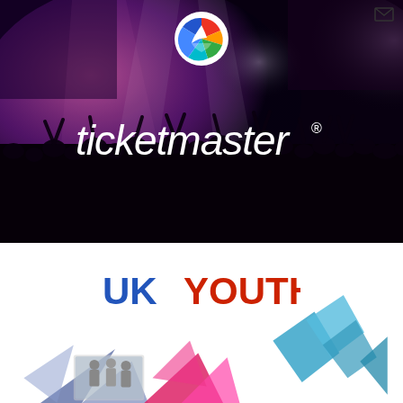[Figure (logo): Email envelope icon at top right corner]
[Figure (photo): Concert crowd scene with pink/purple stage lighting, hands raised, large screen backdrop, with Ticketmaster logo and registered trademark symbol overlaid in white italic text, and a circular multicolor Ticketmaster logo at the top center]
[Figure (logo): UK YOUTH logo in bold text with 'UK' in blue and 'YOUTH' in red/orange, with colorful geometric diamond shapes (blue, pink, magenta, slate-blue) decorating the section along with a small photo of youth group in bottom left]